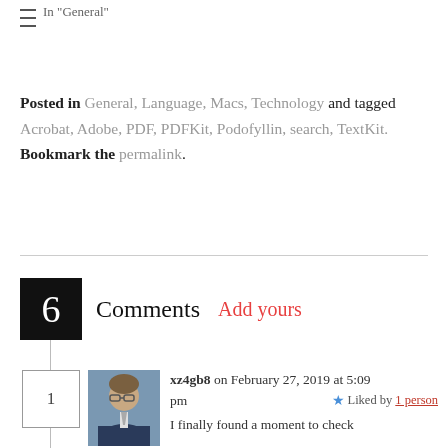In "General"
Posted in General, Language, Macs, Technology and tagged Acrobat, Adobe, PDF, PDFKit, Podofyllin, search, TextKit. Bookmark the permalink.
6 Comments  Add yours
xz4gb8 on February 27, 2019 at 5:09 pm  ★ Liked by 1 person  I finally found a moment to check Podofyllin. Since it is to appear as I